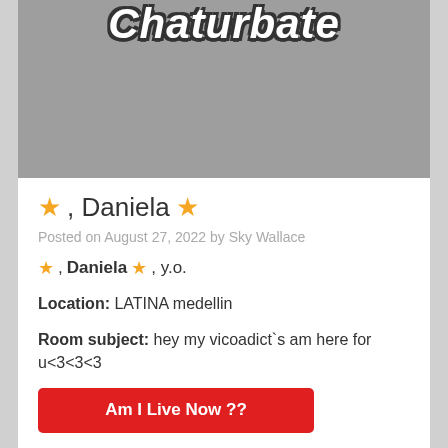[Figure (logo): Chaturbate logo on grey background]
★, Daniela ★
Posted on August 27, 2022 by Sky Wallace
★, Daniela ★, y.o.
Location: LATINA medellin
Room subject: hey my vicoadict`s am here for u<3<3<3